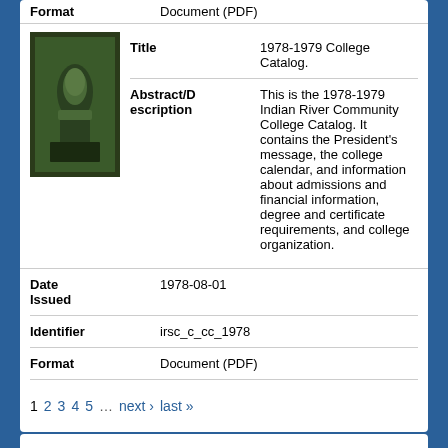| Field | Value |
| --- | --- |
| Format | Document (PDF) |
| Title | 1978-1979 College Catalog. |
| Abstract/Description | This is the 1978-1979 Indian River Community College Catalog. It contains the President's message, the college calendar, and information about admissions and financial information, degree and certificate requirements, and college organization. |
| Date Issued | 1978-08-01 |
| Identifier | irsc_c_cc_1978 |
| Format | Document (PDF) |
[Figure (photo): Thumbnail image of the 1978-1979 Indian River Community College Catalog cover, showing a dark greenish figure/statue.]
1  2  3  4  5  ...  next ›  last »